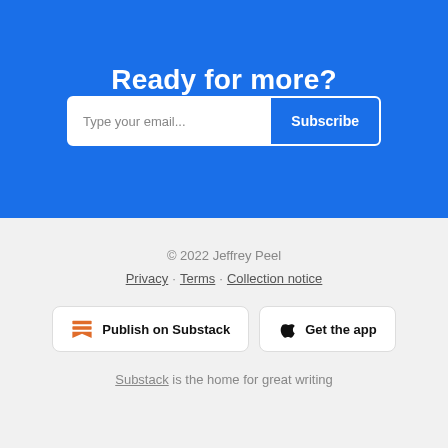Ready for more?
Type your email... Subscribe
© 2022 Jeffrey Peel
Privacy · Terms · Collection notice
Publish on Substack
Get the app
Substack is the home for great writing